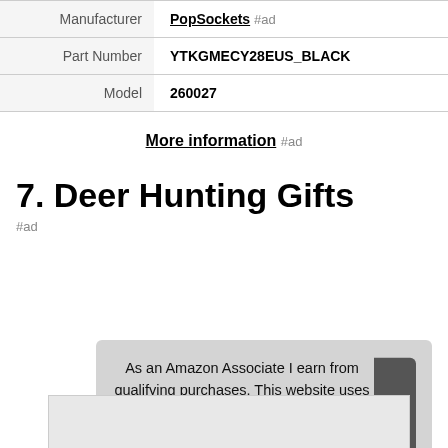| Field | Value |
| --- | --- |
| Manufacturer | PopSockets #ad |
| Part Number | YTKGMECY28EUS_BLACK |
| Model | 260027 |
More information #ad
7. Deer Hunting Gifts
#ad
As an Amazon Associate I earn from qualifying purchases. This website uses the only necessary cookies to ensure you get the best experience on our website. More information
[Figure (photo): Partial product image visible at bottom of page]